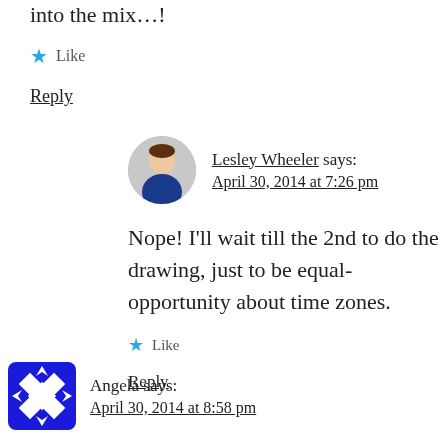into the mix…!
Like
Reply
Lesley Wheeler says: April 30, 2014 at 7:26 pm
Nope! I'll wait till the 2nd to do the drawing, just to be equal-opportunity about time zones.
Like
Reply
Angela says: April 30, 2014 at 8:58 pm